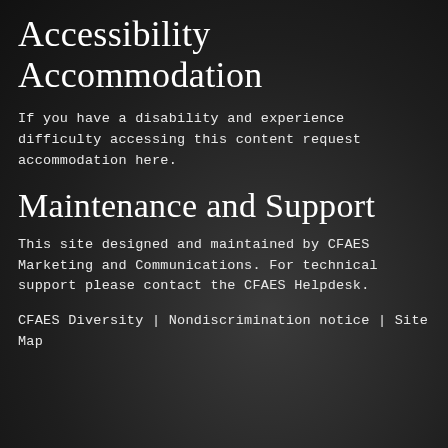Accessibility Accommodation
If you have a disability and experience difficulty accessing this content request accommodation here.
Maintenance and Support
This site designed and maintained by CFAES Marketing and Communications. For technical support please contact the CFAES Helpdesk.
CFAES Diversity  |  Nondiscrimination notice  |  Site Map